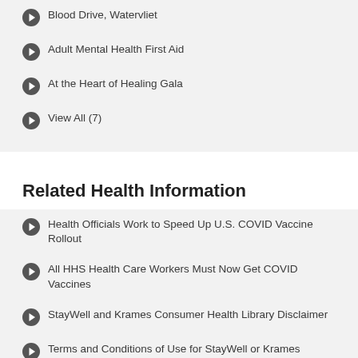Blood Drive, Watervliet
Adult Mental Health First Aid
At the Heart of Healing Gala
View All (7)
Related Health Information
Health Officials Work to Speed Up U.S. COVID Vaccine Rollout
All HHS Health Care Workers Must Now Get COVID Vaccines
StayWell and Krames Consumer Health Library Disclaimer
Terms and Conditions of Use for StayWell or Krames Consumer Health Library
Living with a Chronic Health Condition: Reducing Stress
View All (16551)